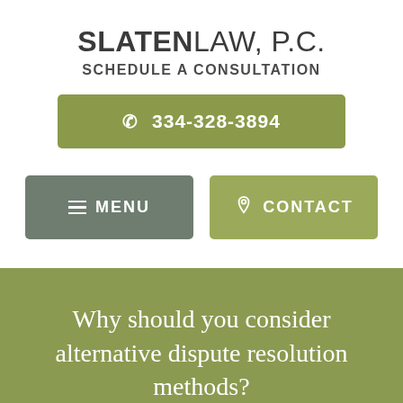SLATENLAW, P.C.
SCHEDULE A CONSULTATION
334-328-3894
MENU
CONTACT
Why should you consider alternative dispute resolution methods?